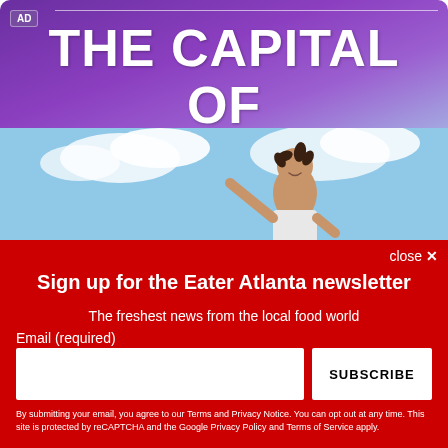[Figure (illustration): Advertisement banner with purple-to-blue gradient background showing a child with arms outstretched and large white bold text reading 'THE CAPITAL OF BEST DAY EVER']
Sign up for the Eater Atlanta newsletter
The freshest news from the local food world
Email (required)
SUBSCRIBE
By submitting your email, you agree to our Terms and Privacy Notice. You can opt out at any time. This site is protected by reCAPTCHA and the Google Privacy Policy and Terms of Service apply.